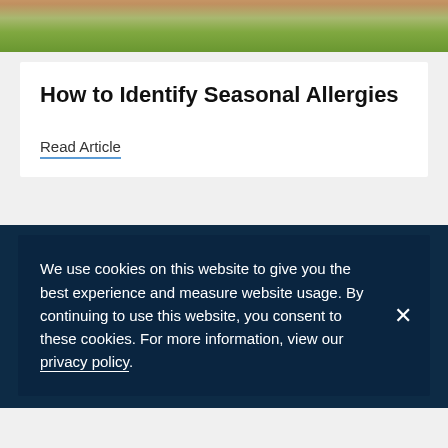[Figure (photo): Partial photo of a person outdoors among green plants/flowers, cropped to show top portion only]
How to Identify Seasonal Allergies
Read Article
We use cookies on this website to give you the best experience and measure website usage. By continuing to use this website, you consent to these cookies. For more information, view our privacy policy.